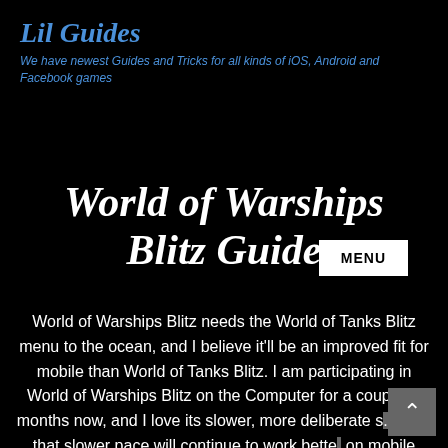Lil Guides
We have newest Guides and Tricks for all kinds of iOS, Android and Facebook games
World of Warships Blitz Guide
World of Warships Blitz needs the World of Tanks Blitz menu to the ocean, and I believe it'll be an improved fit for mobile than World of Tanks Blitz. I am participating in World of Warships Blitz on the Computer for a couple of months now, and I love its slower, more deliberate s.... I feel that slower pace will continue to work bette... on mobile because touchscreen adjustments don't always